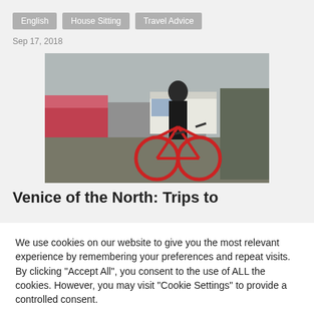English | House Sitting | Travel Advice
Sep 17, 2018
[Figure (photo): Person on a red bicycle in a city street with shops and a white truck in the background]
Venice of the North: Trips to
We use cookies on our website to give you the most relevant experience by remembering your preferences and repeat visits. By clicking "Accept All", you consent to the use of ALL the cookies. However, you may visit "Cookie Settings" to provide a controlled consent.
Cookie Settings | Accept All